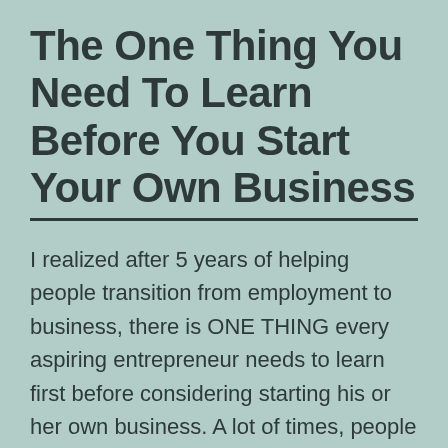The One Thing You Need To Learn Before You Start Your Own Business
I realized after 5 years of helping people transition from employment to business, there is ONE THING every aspiring entrepreneur needs to learn first before considering starting his or her own business. A lot of times, people think that having money or capital is the most important thing you need to start your own business.... Continue reading